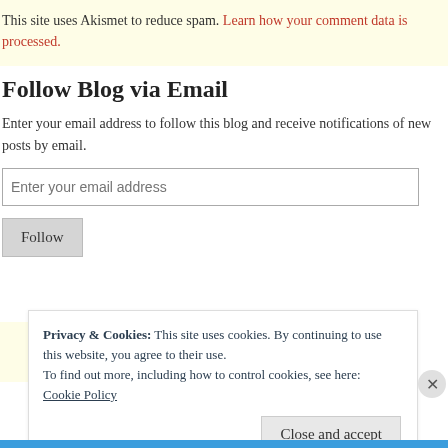This site uses Akismet to reduce spam. Learn how your comment data is processed.
Follow Blog via Email
Enter your email address to follow this blog and receive notifications of new posts by email.
Privacy & Cookies: This site uses cookies. By continuing to use this website, you agree to their use.
To find out more, including how to control cookies, see here:
Cookie Policy
Close and accept